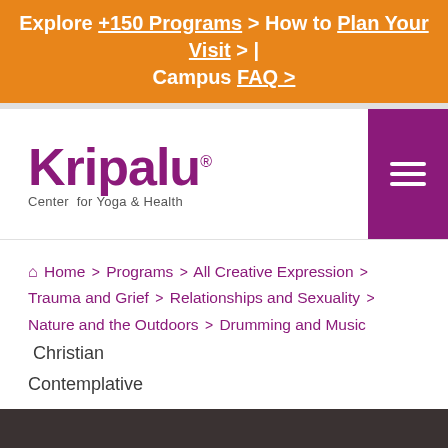Explore +150 Programs > How to Plan Your Visit > | Campus FAQ >
[Figure (logo): Kripalu Center for Yoga & Health logo with purple wordmark]
Home > Programs > All Creative Expression > Trauma and Grief > Relationships and Sexuality > Nature and the Outdoors > Drumming and Music  Christian Contemplative